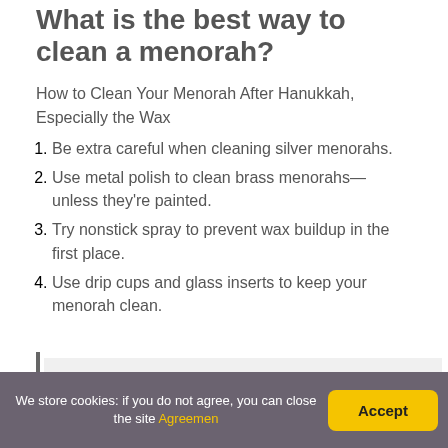What is the best way to clean a menorah?
How to Clean Your Menorah After Hanukkah, Especially the Wax
Be extra careful when cleaning silver menorahs.
Use metal polish to clean brass menorahs—unless they're painted.
Try nonstick spray to prevent wax buildup in the first place.
Use drip cups and glass inserts to keep your menorah clean.
We store cookies: if you do not agree, you can close the site Agreemen  Accept